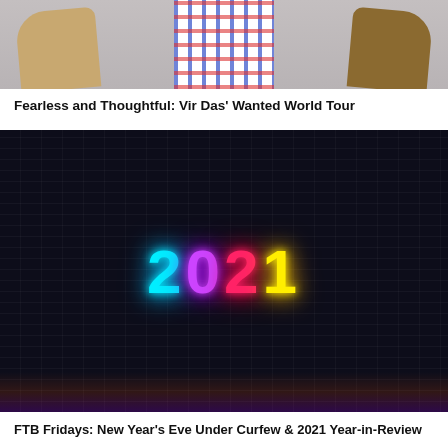[Figure (photo): A person wearing a plaid shirt and a tan/brown coat, photographed from chest up against a grey background]
Fearless and Thoughtful: Vir Das' Wanted World Tour
[Figure (photo): Neon text reading '2021' in colorful neon colors (cyan 2, purple 0, pink-red 2, yellow 1) on a dark brick wall background]
FTB Fridays: New Year's Eve Under Curfew & 2021 Year-in-Review